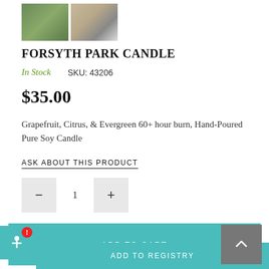[Figure (photo): Two product thumbnail images: left shows green foliage background, right shows a candle jar with label]
FORSYTH PARK CANDLE
In Stock    SKU: 43206
$35.00
Grapefruit, Citrus, & Evergreen 60+ hour burn, Hand-Poured Pure Soy Candle
ASK ABOUT THIS PRODUCT
− 1 +
ADD TO CART
ADD TO REGISTRY